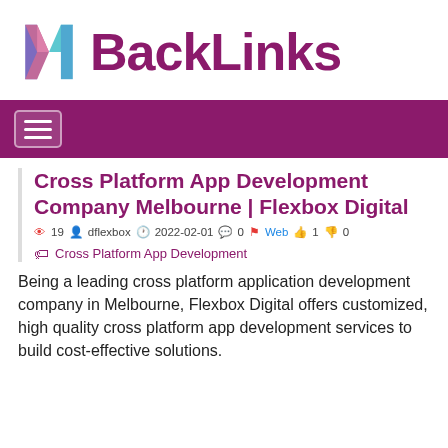[Figure (logo): MBackLinks logo with colorful M icon and purple BackLinks wordmark]
[Figure (other): Purple navigation bar with hamburger menu button]
Cross Platform App Development Company Melbourne | Flexbox Digital
19  dflexbox  2022-02-01  0  Web  1  0
Cross Platform App Development
Being a leading cross platform application development company in Melbourne, Flexbox Digital offers customized, high quality cross platform app development services to build cost-effective solutions.